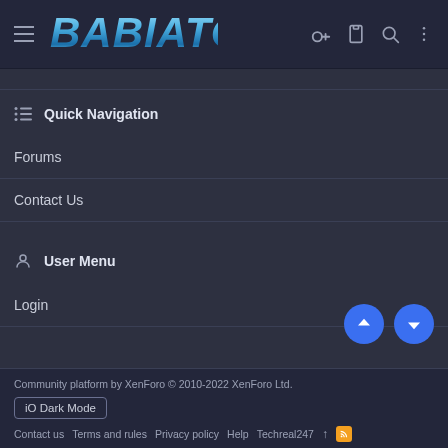BABIATO — navigation header with hamburger menu, logo, key icon, clipboard icon, search icon, menu icon
Quick Navigation
Forums
Contact Us
User Menu
Login
Community platform by XenForo © 2010-2022 XenForo Ltd.
iO Dark Mode
Contact us   Terms and rules   Privacy policy   Help   Techreal247   ↑   RSS